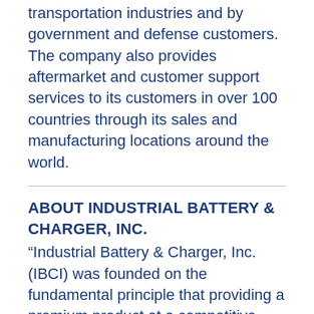transportation industries and by government and defense customers. The company also provides aftermarket and customer support services to its customers in over 100 countries through its sales and manufacturing locations around the world.
ABOUT INDUSTRIAL BATTERY & CHARGER, INC.
“Industrial Battery & Charger, Inc. (IBCI) was founded on the fundamental principle that providing a premium product at a competitive price, representing it with honesty and integrity